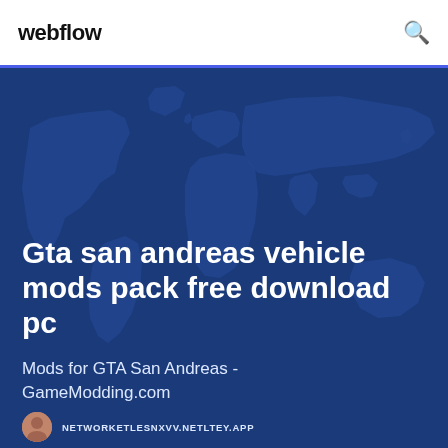webflow
[Figure (illustration): Dark blue world map background image with hero text overlay showing a blog post titled 'Gta san andreas vehicle mods pack free download pc' with subtitle 'Mods for GTA San Andreas - GameModding.com']
Gta san andreas vehicle mods pack free download pc
Mods for GTA San Andreas - GameModding.com
NETWORKETLESNXVV.NETLTEY.APP